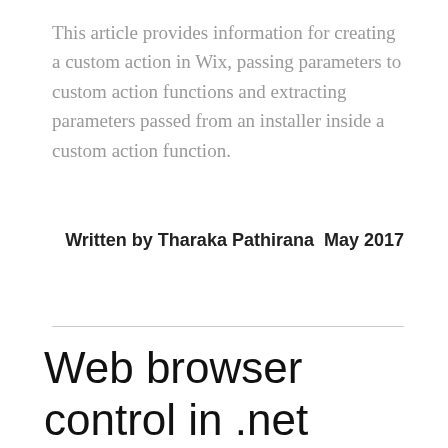This article provides information for creating a custom action in Wix, passing parameters to custom action functions and extracting parameters passed from an installer inside a custom action function.
Written by Tharaka Pathirana  May 2017
Web browser control in .net